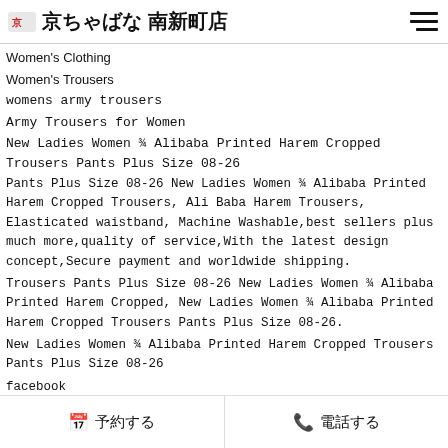京ちゃばな 南新町店
Women's Clothing
Women's Trousers
womens army trousers
Army Trousers for Women
New Ladies Women ¾ Alibaba Printed Harem Cropped Trousers Pants Plus Size 08-26
Pants Plus Size 08-26 New Ladies Women ¾ Alibaba Printed Harem Cropped Trousers, Ali Baba Harem Trousers, Elasticated waistband, Machine Washable,best sellers plus much more,quality of service,With the latest design concept,Secure payment and worldwide shipping.
Trousers Pants Plus Size 08-26 New Ladies Women ¾ Alibaba Printed Harem Cropped, New Ladies Women ¾ Alibaba Printed Harem Cropped Trousers Pants Plus Size 08-26.
New Ladies Women ¾ Alibaba Printed Harem Cropped Trousers Pants Plus Size 08-26
facebook
📅 予約する　　📞 電話する